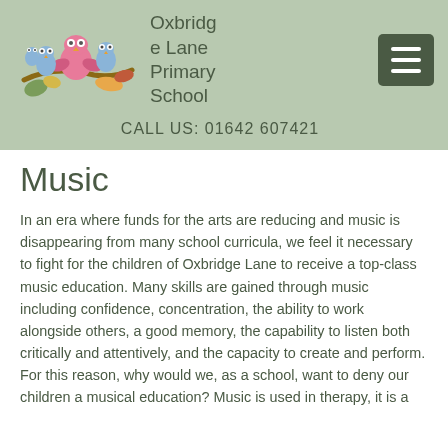[Figure (logo): Oxbridge Lane Primary School logo with colorful owls sitting on a branch with leaves]
Oxbridge Lane Primary School
CALL US: 01642 607421
Music
In an era where funds for the arts are reducing and music is disappearing from many school curricula, we feel it necessary to fight for the children of Oxbridge Lane to receive a top-class music education. Many skills are gained through music including confidence, concentration, the ability to work alongside others, a good memory, the capability to listen both critically and attentively, and the capacity to create and perform. For this reason, why would we, as a school, want to deny our children a musical education? Music is used in therapy, it is a